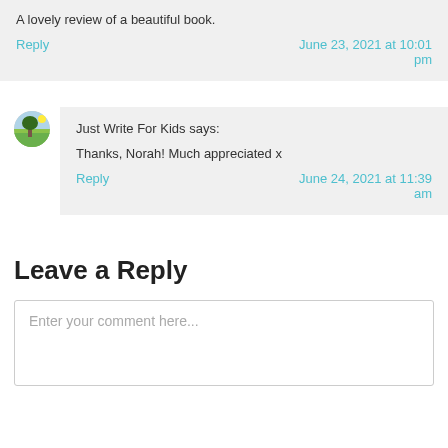A lovely review of a beautiful book.
Reply | June 23, 2021 at 10:01 pm
Just Write For Kids says:
Thanks, Norah! Much appreciated x
Reply | June 24, 2021 at 11:39 am
Leave a Reply
Enter your comment here...